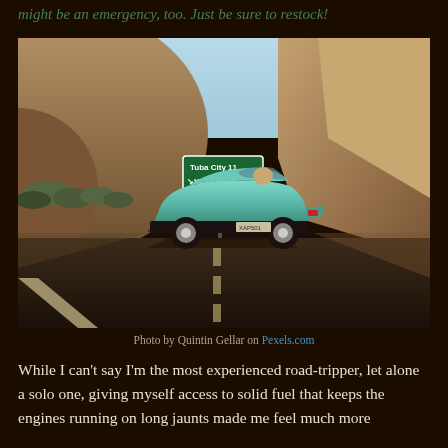might be an emergency, too. Just be sure to restock!
[Figure (photo): Vintage teal/turquoise car driving on a desert highway with rocky hills in background and a green road sign showing Tuba City 11 miles and Kayenta 82 miles]
Photo by Quintin Gellar on Pexels.com
While I can't say I'm the most experienced road-tripper, let alone a solo one, giving myself access to solid fuel that keeps the engines running on long jaunts made me feel much more